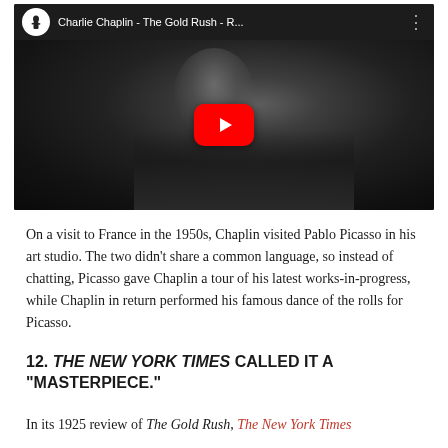[Figure (screenshot): YouTube video thumbnail showing Charlie Chaplin - The Gold Rush - R... with a black and white portrait of Charlie Chaplin and a red YouTube play button overlay. Channel icon visible in top-left corner.]
On a visit to France in the 1950s, Chaplin visited Pablo Picasso in his art studio. The two didn't share a common language, so instead of chatting, Picasso gave Chaplin a tour of his latest works-in-progress, while Chaplin in return performed his famous dance of the rolls for Picasso.
12. THE NEW YORK TIMES CALLED IT A "MASTERPIECE."
In its 1925 review of The Gold Rush, The New York Times